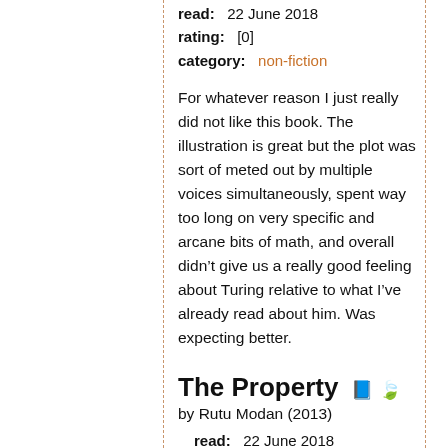read:   22 June 2018
rating:   [0]
category:   non-fiction
For whatever reason I just really did not like this book. The illustration is great but the plot was sort of meted out by multiple voices simultaneously, spent way too long on very specific and arcane bits of math, and overall didn’t give us a really good feeling about Turing relative to what I’ve already read about him. Was expecting better.
The Property
by Rutu Modan (2013)
read:   22 June 2018
rating:   [+]
categories:   fiction, graphic novel
I loved this rich story by Modan about a Jewish grandma and her granddaughter taking a trip to Poland to find out about The Property, a building that had belonged to the